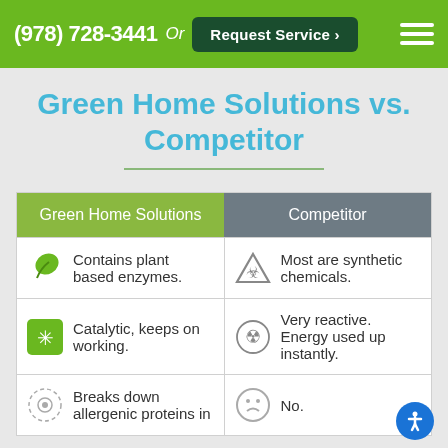(978) 728-3441  Or  Request Service >
Green Home Solutions vs. Competitor
| Green Home Solutions | Competitor |
| --- | --- |
| Contains plant based enzymes. | Most are synthetic chemicals. |
| Catalytic, keeps on working. | Very reactive. Energy used up instantly. |
| Breaks down allergenic proteins in | No. |